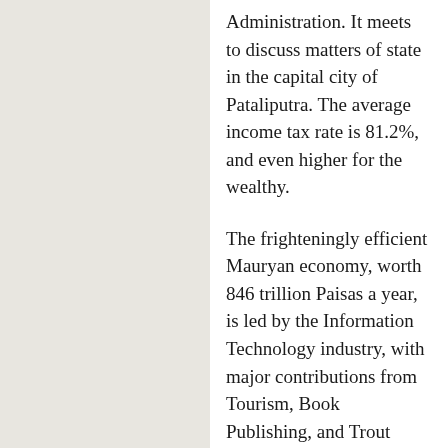Administration. It meets to discuss matters of state in the capital city of Pataliputra. The average income tax rate is 81.2%, and even higher for the wealthy.
The frighteningly efficient Mauryan economy, worth 846 trillion Paisas a year, is led by the Information Technology industry, with major contributions from Tourism, Book Publishing, and Trout Farming. State-owned companies are reasonably common. Average income is an impressive